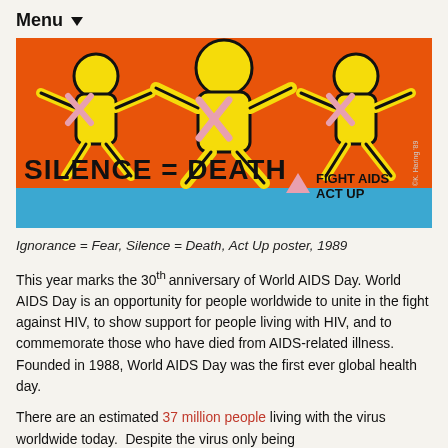Menu
[Figure (illustration): Keith Haring 'Ignorance = Fear, Silence = Death, Act Up' poster from 1989. Orange background with yellow human figures and pink X marks. Blue bottom banner reads 'SILENCE = DEATH' with a pink triangle and 'FIGHT AIDS ACT UP' text.]
Ignorance = Fear, Silence = Death, Act Up poster, 1989
This year marks the 30th anniversary of World AIDS Day. World AIDS Day is an opportunity for people worldwide to unite in the fight against HIV, to show support for people living with HIV, and to commemorate those who have died from AIDS-related illness.  Founded in 1988, World AIDS Day was the first ever global health day.
There are an estimated 37 million people living with the virus worldwide today.  Despite the virus only being